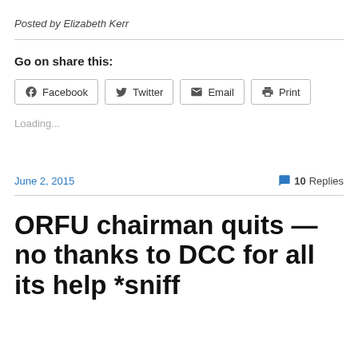Posted by Elizabeth Kerr
Go on share this:
Facebook  Twitter  Email  Print
Loading...
June 2, 2015
10 Replies
ORFU chairman quits —no thanks to DCC for all its help *sniff